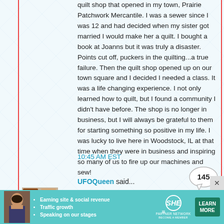quilt shop that opened in my town, Prairie Patchwork Mercantile. I was a sewer since I was 12 and had decided when my sister got married I would make her a quilt. I bought a book at Joanns but it was truly a disaster. Points cut off, puckers in the quilting...a true failure. Then the quilt shop opened up on our town square and I decided I needed a class. It was a life changing experience. I not only learned how to quilt, but I found a community I didn't have before. The shop is no longer in business, but I will always be grateful to them for starting something so positive in my life. I was lucky to live here in Woodstock, IL at that time when they were in business and inspiring so many of us to fire up our machines and sew!
10:45 AM EST
UFOQueen said...
[Figure (photo): Small avatar photo showing decorative items]
Happy birthday a little early Bonnie! Can't wait for Quiltcam today! My lucky story is about the first
[Figure (infographic): SHE Partner Network advertisement banner with woman photo, bullet points about earning site & social revenue, traffic growth, speaking on stages, SHE logo, and Learn More button]